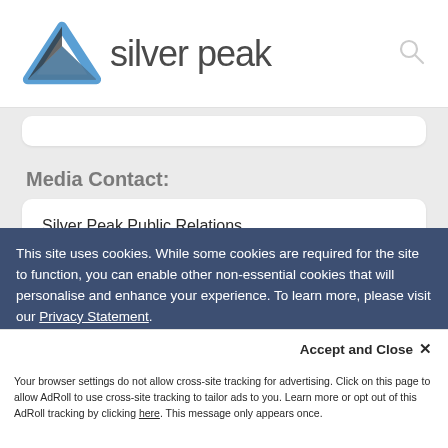silver peak
Media Contact:
Silver Peak Public Relations
PR@silver-peak.com
ROI Calculator:
This site uses cookies. While some cookies are required for the site to function, you can enable other non-essential cookies that will personalise and enhance your experience. To learn more, please visit our Privacy Statement.
Accept and Close ✕
Your browser settings do not allow cross-site tracking for advertising. Click on this page to allow AdRoll to use cross-site tracking to tailor ads to you. Learn more or opt out of this AdRoll tracking by clicking here. This message only appears once.